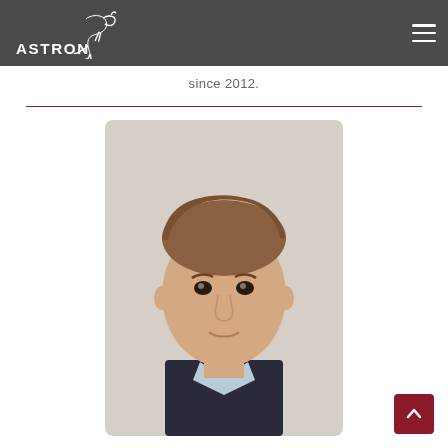ASTRON
since 2012.
[Figure (photo): Portrait photo of a young man with light brown hair wearing a dark suit jacket and light blue shirt, photographed against a light background]
[Figure (other): Scroll-to-top button with upward chevron icon in dark red/maroon color]